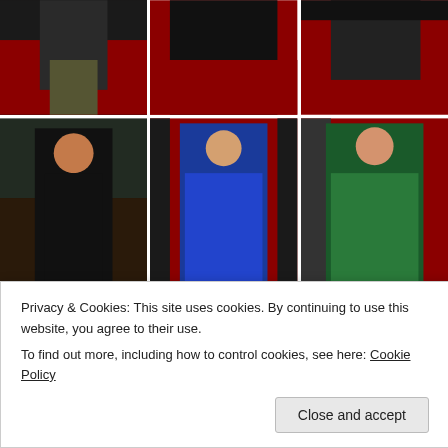[Figure (photo): Row of 3 red carpet event photos - gowns, partial cropped views (top row)]
[Figure (photo): Row of 3 red carpet event photos - woman in black jumpsuit, woman in blue gown, woman in green gown (middle row)]
[Figure (photo): Row of 3 red carpet event photos - partially visible at bottom]
Privacy & Cookies: This site uses cookies. By continuing to use this website, you agree to their use.
To find out more, including how to control cookies, see here: Cookie Policy
Close and accept